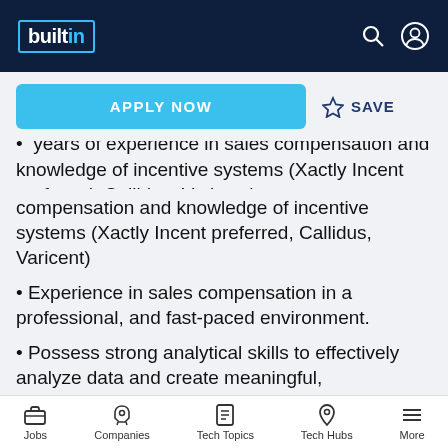builtin
APPLY NOW
SAVE
years of experience in sales compensation and knowledge of incentive systems (Xactly Incent preferred, Callidus, Varicent)
Experience in sales compensation in a professional, and fast-paced environment.
Possess strong analytical skills to effectively analyze data and create meaningful, understandable models, reports, matrices, and charts
Jobs   Companies   Tech Topics   Tech Hubs   More